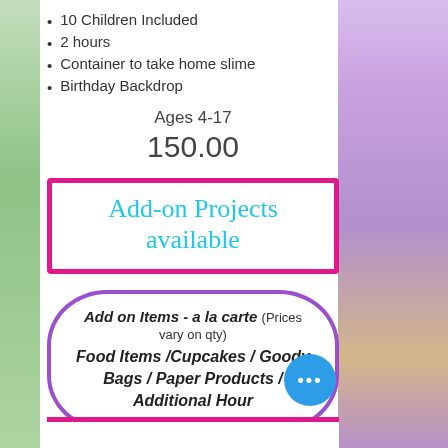10 Children Included
2 hours
Container to take home slime
Birthday Backdrop
Ages 4-17
150.00
Add-on Projects available
Add on Items - a la carte (Prices vary on qty) Food Items /Cupcakes / Goody Bags / Paper Products / Additional Hour